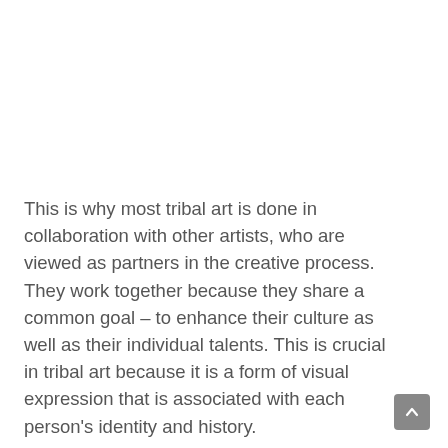This is why most tribal art is done in collaboration with other artists, who are viewed as partners in the creative process. They work together because they share a common goal – to enhance their culture as well as their individual talents. This is crucial in tribal art because it is a form of visual expression that is associated with each person's identity and history.